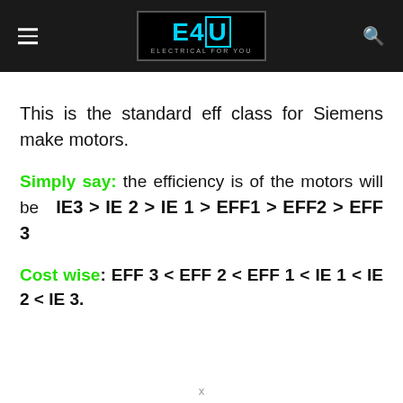E4U – ELECTRICAL FOR YOU
This is the standard eff class for Siemens make motors.
Simply say: the efficiency is of the motors will be IE3 > IE 2 > IE 1 > EFF1 > EFF2 > EFF 3
Cost wise: EFF 3 < EFF 2 < EFF 1 < IE 1 < IE 2 < IE 3.